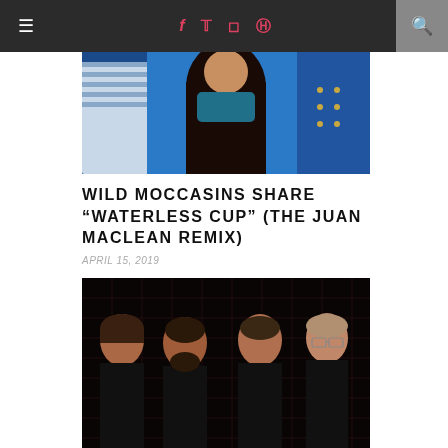≡   f  t  inst  p   🔍
[Figure (photo): Band photo showing three people in blue outfits with long dark hair, cropped.]
WILD MOCCASINS SHARE “WATERLESS CUP” (THE JUAN MACLEAN REMIX)
APRIL 15, 2019
[Figure (photo): Photo of four men with reddish/warm filter on a dark grid background, all wearing black.]